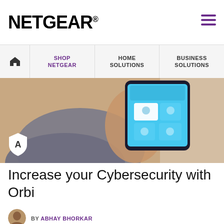NETGEAR
[Figure (screenshot): NETGEAR website navigation bar with hamburger menu, Shop Netgear, Home Solutions, Business Solutions links]
[Figure (photo): Person holding a smartphone displaying Orbi app interface with blue background and app icons]
Increase your Cybersecurity with Orbi
BY ABHAY BHORKAR